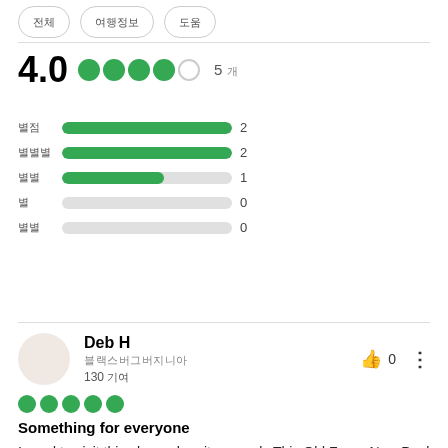[Figure (other): Three pill-shaped filter buttons at the top, partially visible]
4.0  5 개
[Figure (bar-chart): Rating distribution]
Deb H
블랙스버그버지니아
130 기여
Something for everyone
I used to visit this place when it was only This Old Farm. Now Paul Bunyan land is there also. Fun rides for younger children and old farm/museum stuff for older